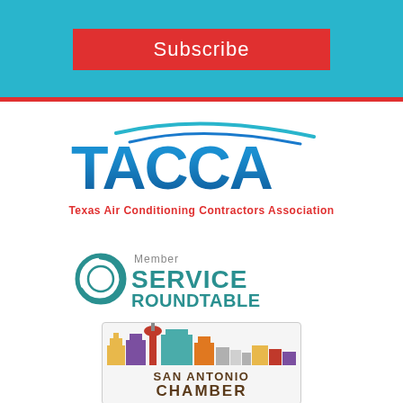[Figure (other): Subscribe button on cyan/blue background header bar]
[Figure (logo): TACCA - Texas Air Conditioning Contractors Association logo with blue swoosh and blue text, red subtitle]
[Figure (logo): Service Roundtable Member logo - teal circular icon with SERVICE ROUNDTABLE text and 'World's Premier Contractor Organization' subtitle with 'Member' text above]
[Figure (logo): San Antonio Chamber logo with colorful city skyline illustration and text SAN ANTONIO CHAMBER]